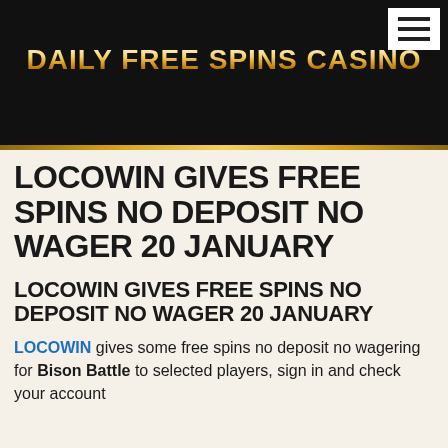DAILY FREE SPINS CASINO
LOCOWIN GIVES FREE SPINS NO DEPOSIT NO WAGER 20 JANUARY
LOCOWIN GIVES FREE SPINS NO DEPOSIT NO WAGER 20 JANUARY
LOCOWIN gives some free spins no deposit no wagering for Bison Battle to selected players, sign in and check your account